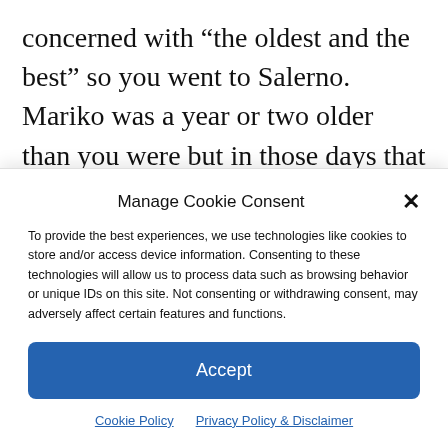concerned with “the oldest and the best” so you went to Salerno. Mariko was a year or two older than you were but in those days that didn’t cement you into different classes. You both returned to Florence when you were done with
Manage Cookie Consent
To provide the best experiences, we use technologies like cookies to store and/or access device information. Consenting to these technologies will allow us to process data such as browsing behavior or unique IDs on this site. Not consenting or withdrawing consent, may adversely affect certain features and functions.
Accept
Cookie Policy   Privacy Policy & Disclaimer